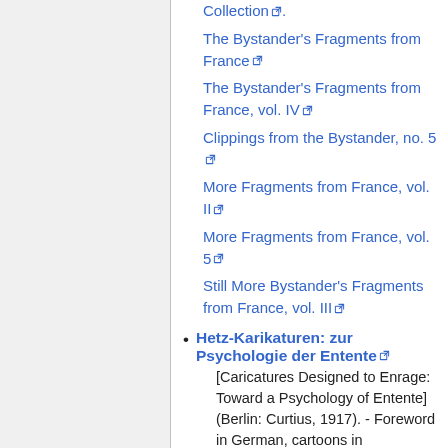Collection.
The Bystander's Fragments from France
The Bystander's Fragments from France, vol. IV
Clippings from the Bystander, no. 5
More Fragments from France, vol. II
More Fragments from France, vol. 5
Still More Bystander's Fragments from France, vol. III
Hetz-Karikaturen: zur Psychologie der Entente [Caricatures Designed to Enrage: Toward a Psychology of Entente] (Berlin: Curtius, 1917). - Foreword in German, cartoons in
[Caricatures Designed to Enrage: Toward a Psychology of Entente] (Berlin: Curtius, 1917). - Foreword in German, cartoons in